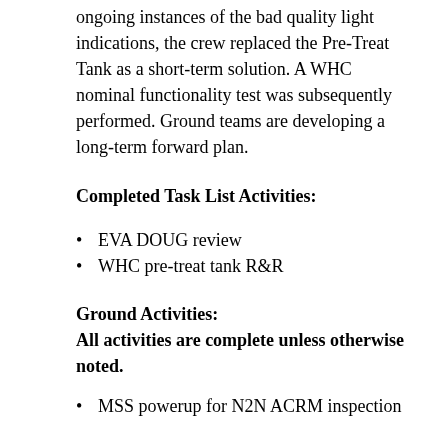ongoing instances of the bad quality light indications, the crew replaced the Pre-Treat Tank as a short-term solution. A WHC nominal functionality test was subsequently performed. Ground teams are developing a long-term forward plan.
Completed Task List Activities:
EVA DOUG review
WHC pre-treat tank R&R
Ground Activities:
All activities are complete unless otherwise noted.
MSS powerup for N2N ACRM inspection